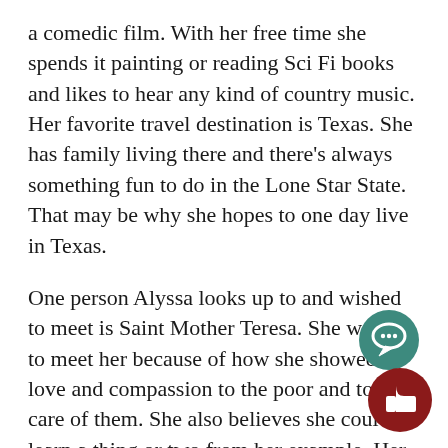a comedic film. With her free time she spends it painting or reading Sci Fi books and likes to hear any kind of country music. Her favorite travel destination is Texas. She has family living there and there's always something fun to do in the Lone Star State. That may be why she hopes to one day live in Texas.
One person Alyssa looks up to and wished to meet is Saint Mother Teresa. She wants to meet her because of how she showed love and compassion to the poor and took care of them. She also believes she could learn a thing or two from her example. Her interest in painting makes her want to witness Michelangelo paint the Vatican in Rome, Italy. When she grows up she wants to pursue a degree in the medical field and one day become either a Physician or nurse. Alyssa says
[Figure (other): Two circular UI buttons overlapping bottom-right corner: a teal speech bubble icon and a dark red thumbs-up icon]